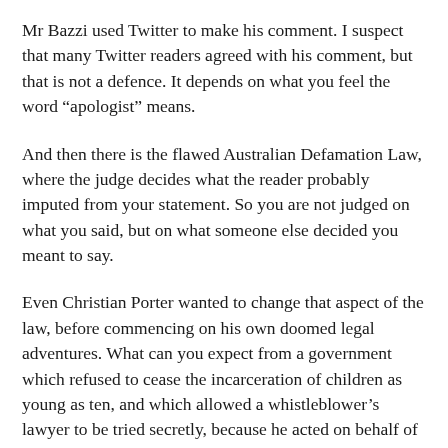Mr Bazzi used Twitter to make his comment. I suspect that many Twitter readers agreed with his comment, but that is not a defence. It depends on what you feel the word “apologist” means.
And then there is the flawed Australian Defamation Law, where the judge decides what the reader probably imputed from your statement. So you are not judged on what you said, but on what someone else decided you meant to say.
Even Christian Porter wanted to change that aspect of the law, before commencing on his own doomed legal adventures. What can you expect from a government which refused to cease the incarceration of children as young as ten, and which allowed a whistleblower’s lawyer to be tried secretly, because he acted on behalf of the man who blew the whistle on Australia’s security services, for acting unlawfully.